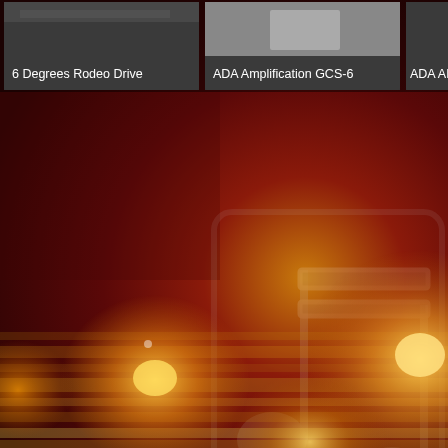[Figure (screenshot): Screenshot of a music application (likely iTunes or similar) showing album art thumbnails in a horizontal scroll row at the top. Three cards visible: '6 Degrees Rodeo Drive', 'ADA Amplification GCS-6', and partially cut-off 'ADA AP...' The background shows a large music note icon centered on a dark red-to-golden gradient background with lens flare light orbs and horizontal light bands at the bottom.]